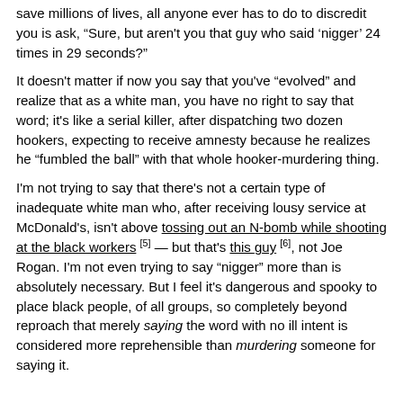save millions of lives, all anyone ever has to do to discredit you is ask, “Sure, but aren't you that guy who said ‘nigger’ 24 times in 29 seconds?”
It doesn't matter if now you say that you've “evolved” and realize that as a white man, you have no right to say that word; it's like a serial killer, after dispatching two dozen hookers, expecting to receive amnesty because he realizes he “fumbled the ball” with that whole hooker-murdering thing.
I'm not trying to say that there's not a certain type of inadequate white man who, after receiving lousy service at McDonald's, isn't above tossing out an N-bomb while shooting at the black workers [5] — but that's this guy [6], not Joe Rogan. I'm not even trying to say “nigger” more than is absolutely necessary. But I feel it's dangerous and spooky to place black people, of all groups, so completely beyond reproach that merely saying the word with no ill intent is considered more reprehensible than murdering someone for saying it.